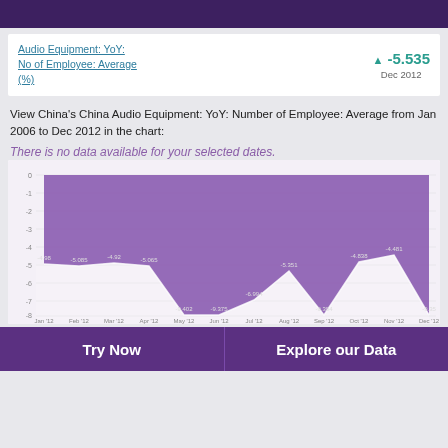Audio Equipment: YoY: No of Employee: Average (%)
▲ -5.535
Dec 2012
View China's China Audio Equipment: YoY: Number of Employee: Average from Jan 2006 to Dec 2012 in the chart:
There is no data available for your selected dates.
[Figure (area-chart): Audio Equipment YoY No of Employee Average (%)]
Try Now
Explore our Data